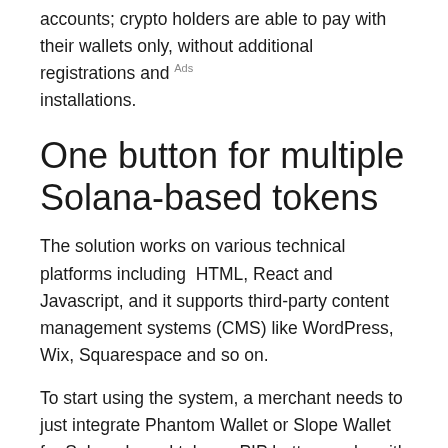accounts; crypto holders are able to pay with their wallets only, without additional registrations and installations.
One button for multiple Solana-based tokens
The solution works on various technical platforms including  HTML, React and Javascript, and it supports third-party content management systems (CMS) like WordPress, Wix, Squarespace and so on.
To start using the system, a merchant needs to just integrate Phantom Wallet or Slope Wallet for Solana-based tokens. PIP button works with SOL as well as all mainstream tokens of the Solana ecosystem, including the likes of PIP, SERUM, RAY, KIN, ORCA and so on.